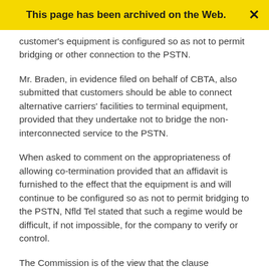This page has been archived on the Web.
customer's equipment is configured so as not to permit bridging or other connection to the PSTN.
Mr. Braden, in evidence filed on behalf of CBTA, also submitted that customers should be able to connect alternative carriers' facilities to terminal equipment, provided that they undertake not to bridge the non-interconnected service to the PSTN.
When asked to comment on the appropriateness of allowing co-termination provided that an affidavit is furnished to the effect that the equipment is and will continue to be configured so as not to permit bridging to the PSTN, Nfld Tel stated that such a regime would be difficult, if not impossible, for the company to verify or control.
The Commission is of the view that the clause proposed by